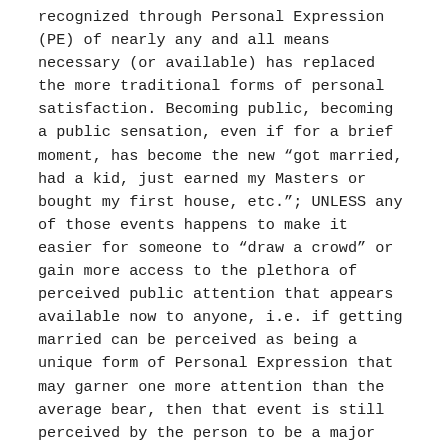recognized through Personal Expression (PE) of nearly any and all means necessary (or available) has replaced the more traditional forms of personal satisfaction. Becoming public, becoming a public sensation, even if for a brief moment, has become the new “got married, had a kid, just earned my Masters or bought my first house, etc.”; UNLESS any of those events happens to make it easier for someone to “draw a crowd” or gain more access to the plethora of perceived public attention that appears available now to anyone, i.e. if getting married can be perceived as being a unique form of Personal Expression that may garner one more attention than the average bear, then that event is still perceived by the person to be a major life moment worth investing in.